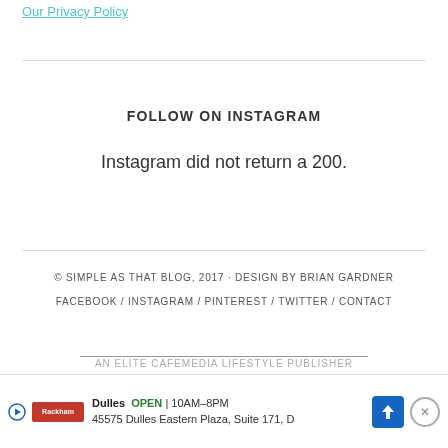Our Privacy Policy
FOLLOW ON INSTAGRAM
Instagram did not return a 200.
© SIMPLE AS THAT BLOG, 2017 · DESIGN BY BRIAN GARDNER
FACEBOOK / INSTAGRAM / PINTEREST / TWITTER / CONTACT
AN ELITE CAFEMEDIA LIFESTYLE PUBLISHER
Dulles OPEN | 10AM–8PM
45575 Dulles Eastern Plaza, Suite 171, D